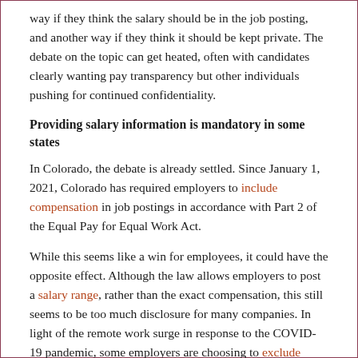way if they think the salary should be in the job posting, and another way if they think it should be kept private. The debate on the topic can get heated, often with candidates clearly wanting pay transparency but other individuals pushing for continued confidentiality.
Providing salary information is mandatory in some states
In Colorado, the debate is already settled. Since January 1, 2021, Colorado has required employers to include compensation in job postings in accordance with Part 2 of the Equal Pay for Equal Work Act.
While this seems like a win for employees, it could have the opposite effect. Although the law allows employers to post a salary range, rather than the exact compensation, this still seems to be too much disclosure for many companies. In light of the remote work surge in response to the COVID-19 pandemic, some employers are choosing to exclude Colorado applicants from their talent pool rather than disclosing the position's compensation in the job postings.
Some companies, like Amazon, include the pay range for Colorado